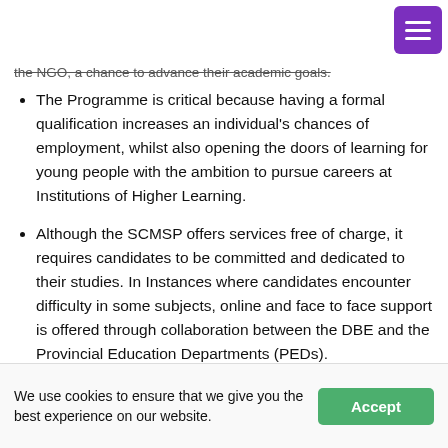the NGO, a chance to advance their academic goals.
The Programme is critical because having a formal qualification increases an individual's chances of employment, whilst also opening the doors of learning for young people with the ambition to pursue careers at Institutions of Higher Learning.
Although the SCMSP offers services free of charge, it requires candidates to be committed and dedicated to their studies. In Instances where candidates encounter difficulty in some subjects, online and face to face support is offered through collaboration between the DBE and the Provincial Education Departments (PEDs).
We use cookies to ensure that we give you the best experience on our website.